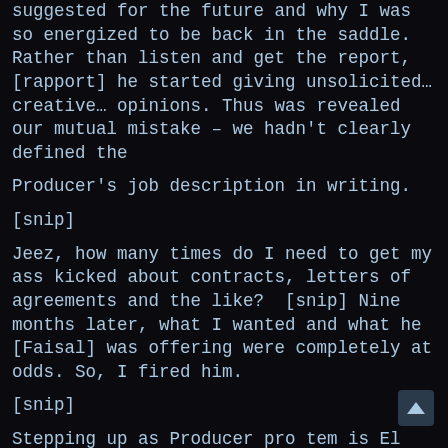suggested for the future and why I was so energized to be back in the saddle. Rather than listen and get the report, [rapport] he started giving unsolicited… creative… opinions. Thus was revealed our mutual mistake – we hadn't clearly defined the
Producer's job description in writing.
[snip]
Jeez, how many times do I need to get my ass kicked about contracts, letters of agreements and the like?  [snip] Nine months later, what I wanted and what he [Faisal] was offering were completely at odds. So, I fired him.
[snip]
Stepping up as Producer pro tem is El Carne Loco. He's been building sweat equity on DOG since it's inception. Here's an interview transcription.